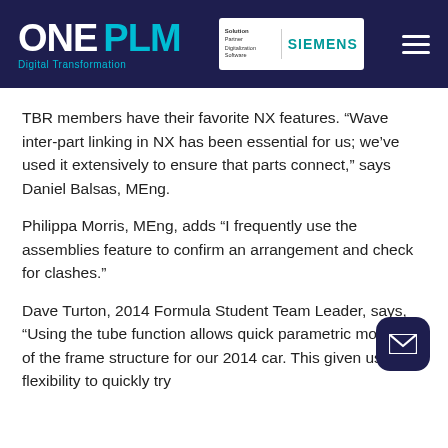[Figure (logo): ONE PLM Digital Transformation logo with Siemens partner badge on dark navy header with hamburger menu]
TBR members have their favorite NX features. “Wave inter-part linking in NX has been essential for us; we’ve used it extensively to ensure that parts connect,” says Daniel Balsas, MEng.
Philippa Morris, MEng, adds “I frequently use the assemblies feature to confirm an arrangement and check for clashes.”
Dave Turton, 2014 Formula Student Team Leader, says, “Using the tube function allows quick parametric modeling of the frame structure for our 2014 car. This given us the flexibility to quickly try